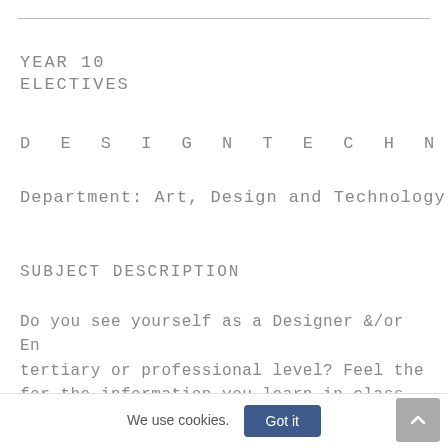YEAR 10
ELECTIVES
D E S I G N T E C H N O LO GY
Department: Art, Design and Technology
SUBJECT DESCRIPTION
Do you see yourself as a Designer &/or En tertiary or professional level? Feel the for the information you learn in class to problems? Year 10 Design Technology will a 'hands on' opportunity to do just that
We use cookies.
Got it